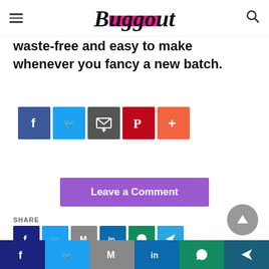Buggout
waste-free and easy to make whenever you fancy a new batch.
[Figure (infographic): Social share buttons: Facebook (blue), Twitter (light blue), Email (dark gray), Pinterest (red), More/plus (orange-red)]
Leave a Comment
SHARE
[Figure (infographic): Scroll to top button (gray circle with up arrow)]
[Figure (infographic): Social share buttons row: Facebook, Twitter, Email/Gmail, LinkedIn, WhatsApp, Telegram]
[Figure (infographic): Bottom bar with social share icons: Facebook, Twitter, Gmail, LinkedIn, WhatsApp, Telegram]